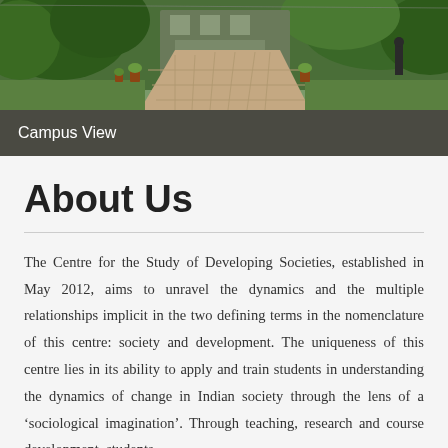[Figure (photo): Campus view photo showing a paved pathway with trees and greenery on both sides, with buildings in the background]
Campus View
About Us
The Centre for the Study of Developing Societies, established in May 2012, aims to unravel the dynamics and the multiple relationships implicit in the two defining terms in the nomenclature of this centre: society and development. The uniqueness of this centre lies in its ability to apply and train students in understanding the dynamics of change in Indian society through the lens of a 'sociological imagination'. Through teaching, research and course development, students